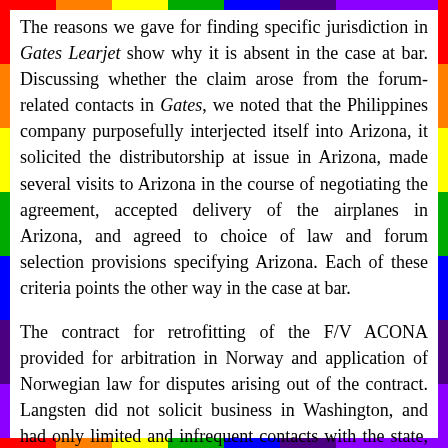The reasons we gave for finding specific jurisdiction in Gates Learjet show why it is absent in the case at bar. Discussing whether the claim arose from the forum-related contacts in Gates, we noted that the Philippines company purposefully interjected itself into Arizona, it solicited the distributorship at issue in Arizona, made several visits to Arizona in the course of negotiating the agreement, accepted delivery of the airplanes in Arizona, and agreed to choice of law and forum selection provisions specifying Arizona. Each of these criteria points the other way in the case at bar.
The contract for retrofitting of the F/V ACONA provided for arbitration in Norway and application of Norwegian law for disputes arising out of the contract. Langsten did not solicit business in Washington, and had only limited and infrequent contacts with the state, which were themselves caused by the unilateral acts of